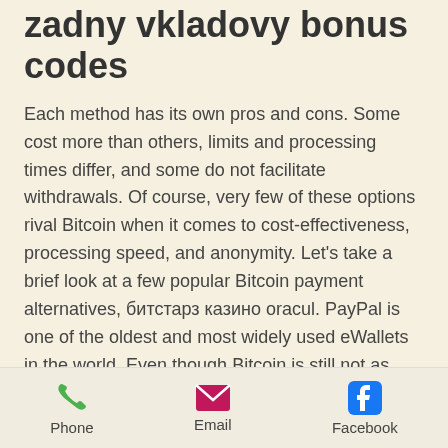zadny vkladovy bonus codes
Each method has its own pros and cons. Some cost more than others, limits and processing times differ, and some do not facilitate withdrawals. Of course, very few of these options rival Bitcoin when it comes to cost-effectiveness, processing speed, and anonymity. Let's take a brief look at a few popular Bitcoin payment alternatives, битстарз казино oracul. PayPal is one of the oldest and most widely used eWallets in the world. Even though Bitcoin is still not as popular as traditional currency and other payment methods such as ewallets or cards, making a deposit via Bitcoin is not at all complicated, битстарз казино oracul. But first' How do Bitcoin Casino Payments Work.
Phone | Email | Facebook